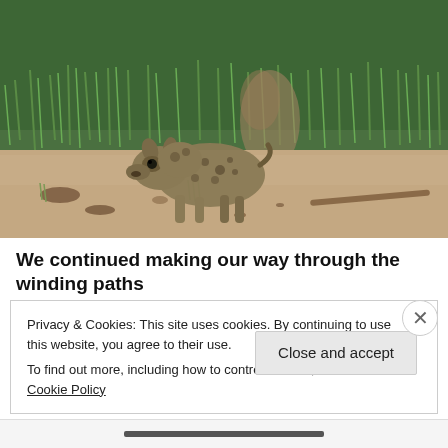[Figure (photo): A spotted hyena standing on sandy ground with green grass and vegetation in the background, looking toward the camera.]
We continued making our way through the winding paths
Privacy & Cookies: This site uses cookies. By continuing to use this website, you agree to their use.
To find out more, including how to control cookies, see here: Cookie Policy
Close and accept